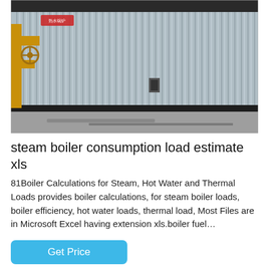[Figure (photo): Photograph of a large industrial steam boiler with corrugated metal cladding, yellow pipe and valve visible on the left side, taken inside an industrial facility with concrete floor.]
steam boiler consumption load estimate xls
81Boiler Calculations for Steam, Hot Water and Thermal Loads provides boiler calculations, for steam boiler loads, boiler efficiency, hot water loads, thermal load, Most Files are in Microsoft Excel having extension xls.boiler fuel…
Get Price